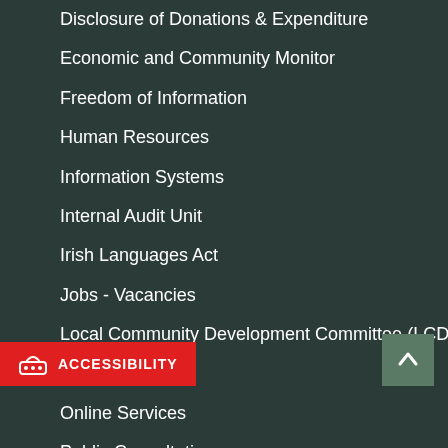Disclosure of Donations & Expenditure
Economic and Community Monitor
Freedom of Information
Human Resources
Information Systems
Internal Audit Unit
Irish Languages Act
Jobs - Vacancies
Local Community Development Committee (LCDC)
Meetings
Online Services
Public Consultations
Reuse of Information
Service Delivery Plans
Service Level Agreements
The Protected Disclosures Act 2014